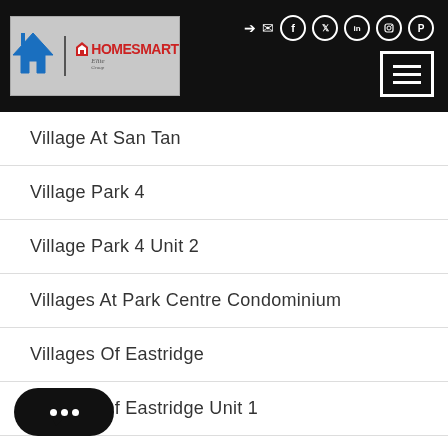[Figure (logo): The Value Solutions logo with blue V-shape house icon and HomeSmart Elite Group branding in red and black, shown on gray background. Navigation icons (login, email, facebook, twitter, linkedin, instagram, pinterest) and hamburger menu button on black header bar.]
Village At San Tan
Village Park 4
Village Park 4 Unit 2
Villages At Park Centre Condominium
Villages Of Eastridge
Villages Of Eastridge Unit 1
Villages Of Eastridge Unit 10A
Villages Of Eastridge Unit 3